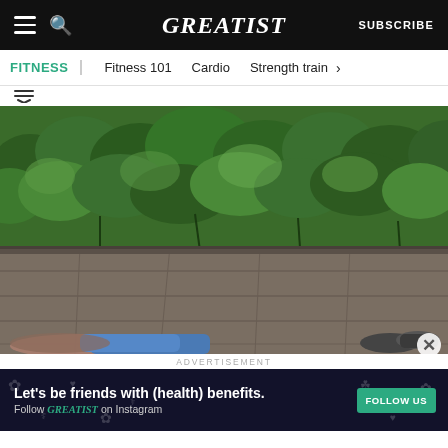GREATIST | SUBSCRIBE
FITNESS | Fitness 101 | Cardio | Strength train
[Figure (photo): Person lying on outdoor stone patio with green hedges/shrubs in background, wearing blue pants]
ADVERTISEMENT
[Figure (infographic): Ad banner: Let's be friends with (health) benefits. Follow GREATIST on Instagram. FOLLOW US button.]